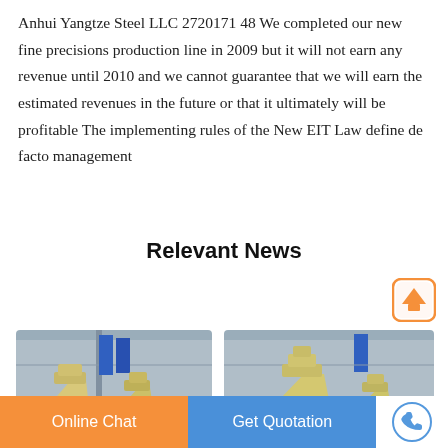Anhui Yangtze Steel LLC 2720171 48 We completed our new fine precisions production line in 2009 but it will not earn any revenue until 2010 and we cannot guarantee that we will earn the estimated revenues in the future or that it ultimately will be profitable The implementing rules of the New EIT Law define de facto management
Relevant News
[Figure (photo): Industrial machinery (cone crushers) in a factory/warehouse setting - two yellowish/cream colored industrial cone crusher machines]
[Figure (photo): Industrial machinery (cone crushers) in a factory/warehouse setting - yellowish/cream colored industrial cone crusher machines]
Online Chat   Get Quotation